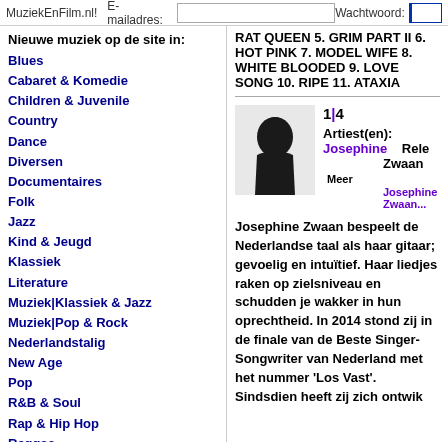MuziekEnFilm.nl!   E-mailadres:   Wachtwoord:
Nieuwe muziek op de site in:
Blues
Cabaret & Komedie
Children & Juvenile
Country
Dance
Diversen
Documentaires
Folk
Jazz
Kind & Jeugd
Klassiek
Literature
Muziek|Klassiek & Jazz
Muziek|Pop & Rock
Nederlandstalig
New Age
Pop
R&B & Soul
Rap & Hip Hop
Reggae
Religieus
Religion & Spirituality
Rock & Alternative
Romantiek & Drama
RAT QUEEN 5. GRIM PART II 6. HOT PINK 7. MODEL WIFE 8. WHITE BLOODED 9. LOVE SONG 10. RIPE 11. ATAXIA
1|4
Artiest(en): Josephine Zwaan Meer Josephine Zwaan...
Rele
Josephine Zwaan bespeelt de Nederlandse taal als haar gitaar; gevoelig en intuïtief. Haar liedjes raken op zielsniveau en schudden je wakker in hun oprechtheid. In 2014 stond zij in de finale van de Beste Singer-Songwriter van Nederland met het nummer ‘Los Vast’. Sindsdien heeft zij zich ontwik